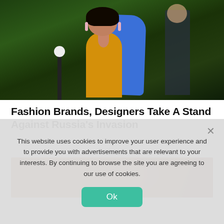[Figure (photo): Street fashion photo of a woman wearing a yellow halter dress and blue coat/wrap, with greenery in the background. Another person visible behind her.]
Fashion Brands, Designers Take A Stand Against Russia's Invasion
Herbeauty
[Figure (photo): Partial photo of a person, cropped, showing face/upper body with warm blurred background.]
This website uses cookies to improve your user experience and to provide you with advertisements that are relevant to your interests. By continuing to browse the site you are agreeing to our use of cookies.